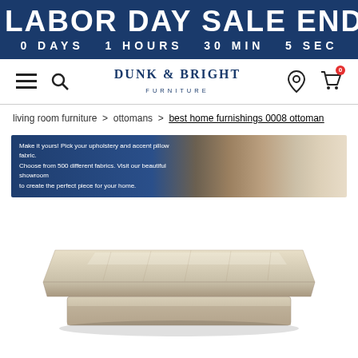LABOR DAY SALE ENDS IN 0 DAYS 1 HOURS 30 MIN 5 SEC
[Figure (logo): Dunk & Bright Furniture navigation bar with hamburger menu, search icon, logo, location pin, and shopping cart]
living room furniture > ottomans > best home furnishings 0008 ottoman
[Figure (infographic): Promotional banner: Make it yours! Pick your upholstery and accent pillow fabric. Choose from 500 different fabrics. Visit our beautiful showroom to create the perfect piece for your home. Right side shows fabric swatches.]
[Figure (photo): Product photo of a beige/cream upholstered rectangular ottoman (Best Home Furnishings 0008 Ottoman) on a white background]